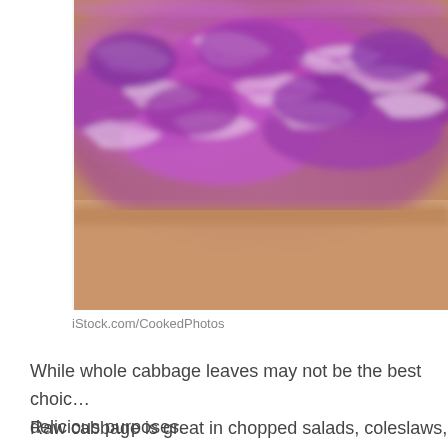[Figure (photo): Close-up photograph of shredded purple/red cabbage on a wooden cutting board. The cabbage strands are bright purple and white, filling most of the frame, with a blurred wooden surface visible at the bottom.]
iStock.com/CookedPhotos
While whole cabbage leaves may not be the best choic… delicious purposes.
Raw cabbage is great in chopped salads, coleslaws, ste…